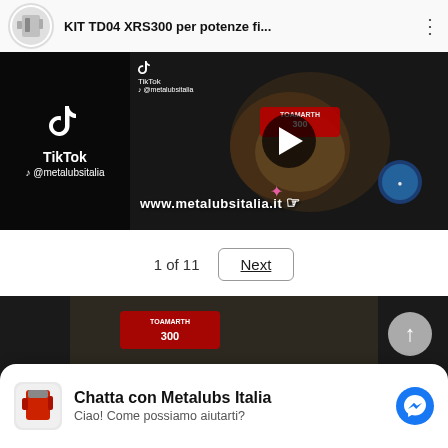[Figure (screenshot): TikTok video embed showing KIT TD04 XRS300 per potenze fi... with play button, www.metalubsitalia.it watermark, and @metalubsitalia handle]
1 of 11
Next
[Figure (screenshot): Second TikTok video strip partially visible showing a product sticker on an engine component]
Chatta con Metalubs Italia
Ciao! Come possiamo aiutarti?